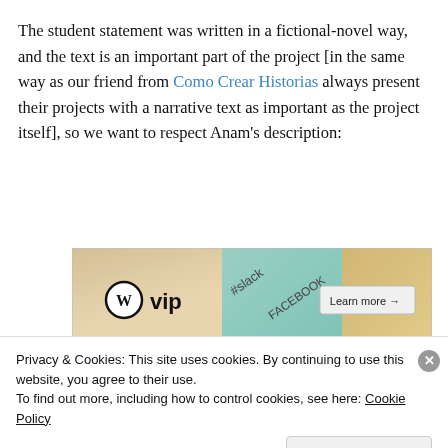The student statement was written in a fictional-novel way, and the text is an important part of the project [in the same way as our friend from Como Crear Historias always present their projects with a narrative text as important as the project itself], so we want to respect Anam's description:
[Figure (other): WordPress VIP advertisement banner with slack, Facebook logos and 'Learn more →' button]
Chapter 1: The Nightmare
Privacy & Cookies: This site uses cookies. By continuing to use this website, you agree to their use.
To find out more, including how to control cookies, see here: Cookie Policy